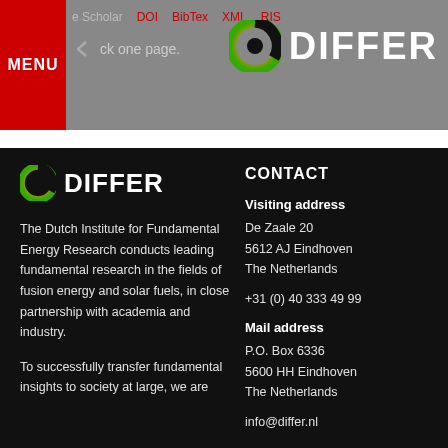MENU | e Scholar  DOI  BibTex  XML  RIS | back one page. | DIFFER
[Figure (logo): DIFFER logo with spiral icon in header area]
[Figure (logo): DIFFER logo with spiral icon in body area]
The Dutch Institute for Fundamental Energy Research conducts leading fundamental research in the fields of fusion energy and solar fuels, in close partnership with academia and industry.
To successfully transfer fundamental insights to society at large, we are
CONTACT
Visiting address
De Zaale 20
5612 AJ Eindhoven
The Netherlands
+31 (0) 40 333 49 99
Mail address
P.O. Box 6336
5600 HH Eindhoven
The Netherlands
info@differ.nl